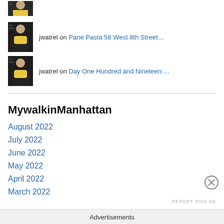[Figure (photo): Small avatar photo of a man in a black jacket and yellow turtleneck, partially visible at top]
jwatrel on Pane Pasta 58 West 8th Street...
jwatrel on Day One Hundred and Nineteen:...
MywalkinManhattan
August 2022
July 2022
June 2022
May 2022
April 2022
March 2022
Advertisements